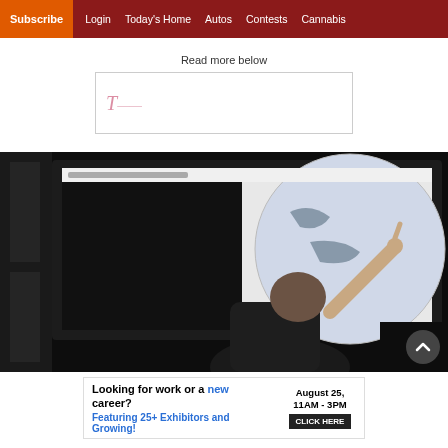Subscribe | Login | Today's Home | Autos | Contests | Cannabis
Read more below
[Figure (logo): Advertisement placeholder with faint italic logo text]
[Figure (photo): Person pointing at a large screen showing a presentation with a globe/map image, viewed from behind in a dark room]
[Figure (infographic): Advertisement: 'Looking for work or a new career? August 25, 11AM-3PM. Featuring 25+ Exhibitors and Growing! CLICK HERE']